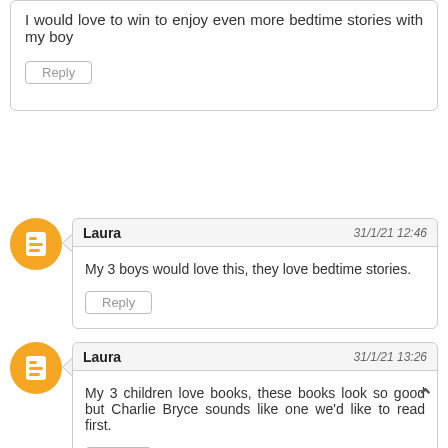I would love to win to enjoy even more bedtime stories with my boy
Reply
Laura  31/1/21 12:46
My 3 boys would love this, they love bedtime stories.
Reply
Laura  31/1/21 13:26
My 3 children love books, these books look so good but Charlie Bryce sounds like one we'd like to read first.
Reply